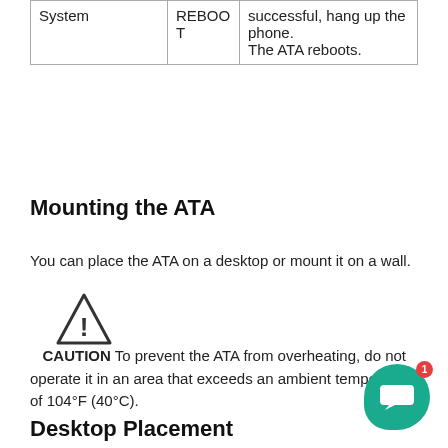| System | REBOOT |  |
| --- | --- | --- |
| System | REBOOT | successful, hang up the phone. The ATA reboots. |
Mounting the ATA
You can place the ATA on a desktop or mount it on a wall.
[Figure (illustration): Warning/caution triangle icon with exclamation mark]
CAUTION To prevent the ATA from overheating, do not operate it in an area that exceeds an ambient temperature of 104°F (40°C).
Desktop Placement